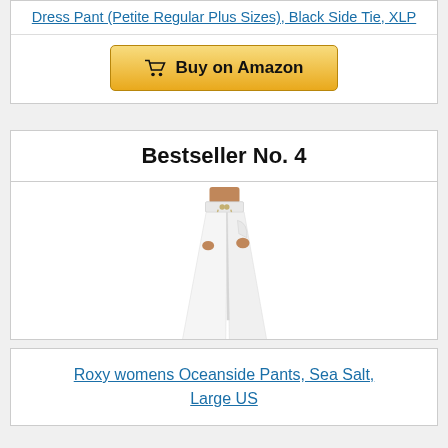Dress Pant (Petite Regular Plus Sizes), Black Side Tie, XLP
[Figure (other): Buy on Amazon button with shopping cart icon]
Bestseller No. 4
[Figure (photo): Woman wearing white wide-leg Roxy Oceanside Pants, Sea Salt, Large US]
Roxy womens Oceanside Pants, Sea Salt, Large US